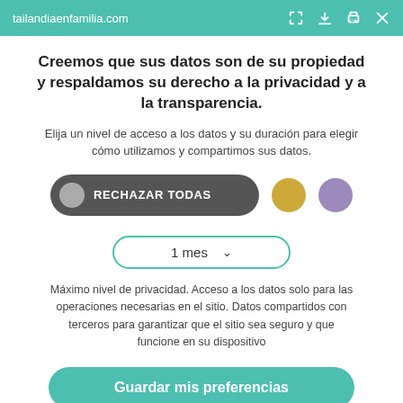tailandiaenfamilia.com
Creemos que sus datos son de su propiedad y respaldamos su derecho a la privacidad y a la transparencia.
Elija un nivel de acceso a los datos y su duración para elegir cómo utilizamos y compartimos sus datos.
[Figure (infographic): Privacy consent dialog with RECHAZAR TODAS button (dark pill with gray circle), gold circle, purple circle, and a dropdown showing '1 mes' with teal border]
Máximo nivel de privacidad. Acceso a los datos solo para las operaciones necesarias en el sitio. Datos compartidos con terceros para garantizar que el sitio sea seguro y que funcione en su dispositivo
Guardar mis preferencias